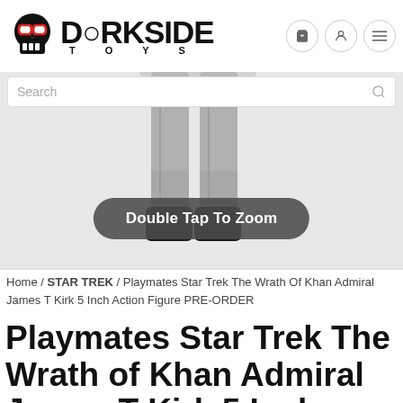[Figure (screenshot): Dorkside Toys website header with skull logo and navigation icons (cart, account, menu)]
[Figure (photo): Action figure product photo showing legs and boots of a Star Trek Admiral James T Kirk figure in grey uniform against a light grey background, with a 'Double Tap To Zoom' button overlay]
Home / STAR TREK / Playmates Star Trek The Wrath Of Khan Admiral James T Kirk 5 Inch Action Figure PRE-ORDER
Playmates Star Trek The Wrath of Khan Admiral James T Kirk 5 Inch Action Figure PRE-ORDER